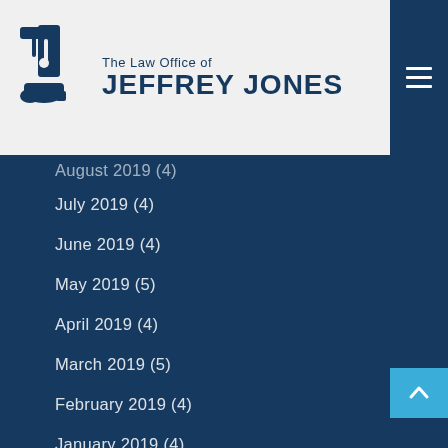[Figure (logo): The Law Office of Jeffrey Jones logo with cowboy boot and gavel icon]
August 2019 (4)
July 2019 (4)
June 2019 (4)
May 2019 (5)
April 2019 (4)
March 2019 (5)
February 2019 (4)
January 2019 (4)
December 2018 (4)
November 2018 (5)
October 2018 (4)